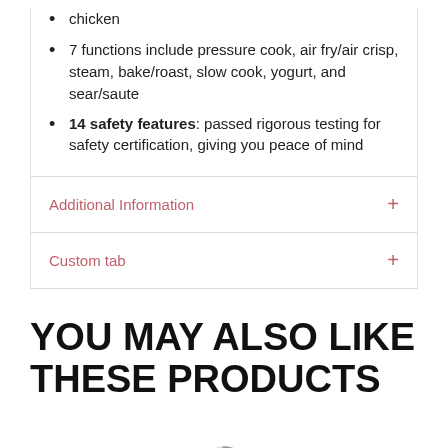chicken
7 functions include pressure cook, air fry/air crisp, steam, bake/roast, slow cook, yogurt, and sear/saute
14 safety features: passed rigorous testing for safety certification, giving you peace of mind
Additional Information +
Custom tab +
YOU MAY ALSO LIKE THESE PRODUCTS
[Figure (other): Loading spinner animation]